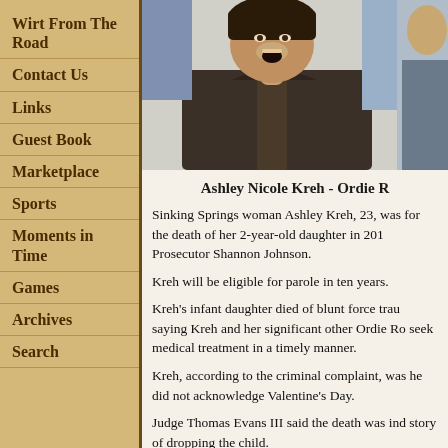Wirt From The Road
Contact Us
Links
Guest Book
Marketplace
Sports
Moments in Time
Games
Archives
Search
[Figure (photo): Photo of Ashley Nicole Kreh with mouth open, wearing a dark hoodie, with another person partially visible on the right]
Ashley Nicole Kreh - Ordie R
Sinking Springs woman Ashley Kreh, 23, was for the death of her 2-year-old daughter in 201 Prosecutor Shannon Johnson.
Kreh will be eligible for parole in ten years.
Kreh's infant daughter died of blunt force trau saying Kreh and her significant other Ordie Ro seek medical treatment in a timely manner.
Kreh, according to the criminal complaint, was he did not acknowledge Valentine's Day.
Judge Thomas Evans III said the death was ind story of dropping the child.